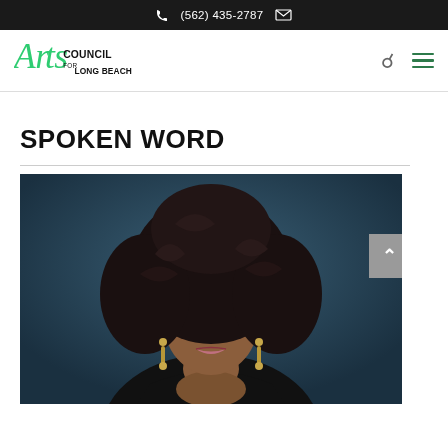(562) 435-2787
[Figure (logo): Arts Council for Long Beach logo with stylized green 'Arts' text and black 'COUNCIL FOR LONG BEACH' text]
SPOKEN WORD
[Figure (photo): Portrait photo of a drag performer with voluminous dark curly hair, dramatic eye makeup, and dangling earrings against a dark blue-grey background]